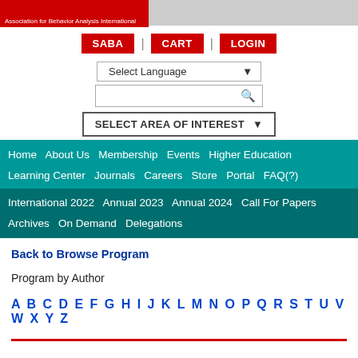[Figure (logo): ABAI Association for Behavior Analysis International logo in red, on grey header bar]
SABA | CART | LOGIN
Select Language ▼
SELECT AREA OF INTEREST ▼
Home  About Us  Membership  Events  Higher Education  Learning Center  Journals  Careers  Store  Portal  FAQ(?)
International 2022  Annual 2023  Annual 2024  Call For Papers  Archives  On Demand  Delegations
Back to Browse Program
Program by Author
A B C D E F G H I J K L M N O P Q R S T U V W X Y Z